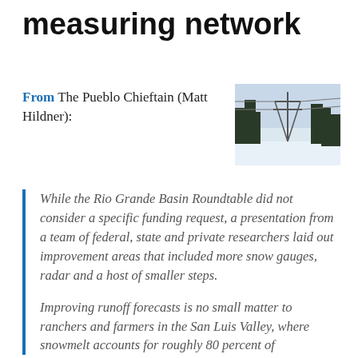measuring network
From The Pueblo Chieftain (Matt Hildner):
[Figure (photo): Winter scene with snow, trees, and electrical infrastructure (power lines/towers) in background]
While the Rio Grande Basin Roundtable did not consider a specific funding request, a presentation from a team of federal, state and private researchers laid out improvement areas that included more snow gauges, radar and a host of smaller steps.
Improving runoff forecasts is no small matter to ranchers and farmers in the San Luis Valley, where snowmelt accounts for roughly 80 percent of